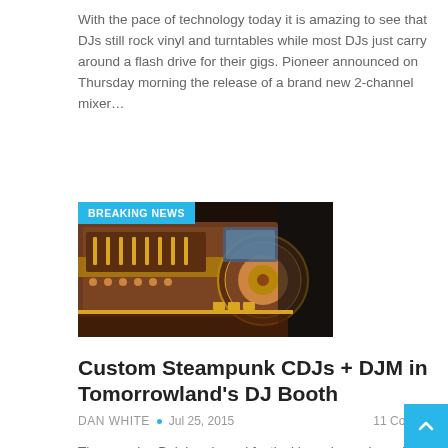With the pace of technology today it is amazing to see that DJs still rock vinyl and turntables while most DJs just carry around a flash drive for their gigs. Pioneer announced on Thursday morning the release of a brand new 2-channel mixer…
[Figure (photo): Photo of custom steampunk CDJ and DJM equipment with a 'BREAKING NEWS' overlay badge in cyan blue at the top left]
Custom Steampunk CDJs + DJM in Tomorrowland's DJ Booth
DAN WHITE • Jul 25, 2015   11 Comments
The massive Belgium-based festival has always been know for attention to aesthetics, with elaborate themed stages that evolve over the course of the performances, so it's no surprise that those same attitudes have made it into the DJ booth….